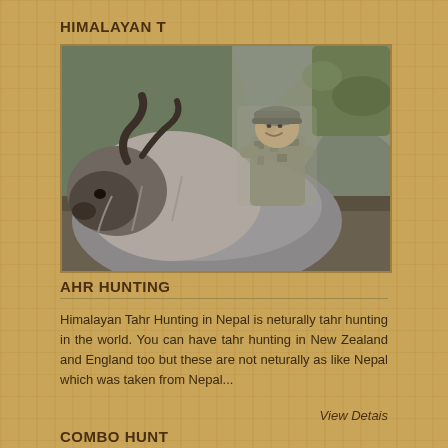HIMALAYAN T
[Figure (photo): Hunter in camouflage clothing posing behind a large Himalayan Tahr with curved horns and thick grey fur, rocky mountain background]
AHR HUNTING
Himalayan Tahr Hunting in Nepal is neturally tahr hunting in the world. You can have tahr hunting in New Zealand and England too but these are not neturally as like Nepal which was taken from Nepal...
View Detais
COMBO HUNT